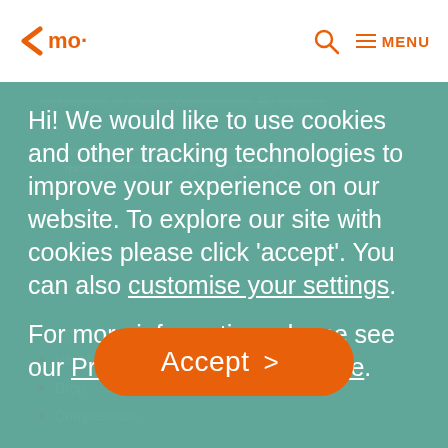mo· [logo] [search icon] MENU
test reports or specific certifications. By request, we can also offer improvement proposals such as more suitable board grade or design
Hi! We would like to use cookies and other tracking technologies to improve your experience on our website. To explore our site with cookies please click ‘accept’. You can also customise your settings.
For more information, please see our Privacy and Cookie Notice.
performance lab in České Budějovice in the Czech Republic (Mondi Bupak) offers the following tests
Vibration
Drop
Compression